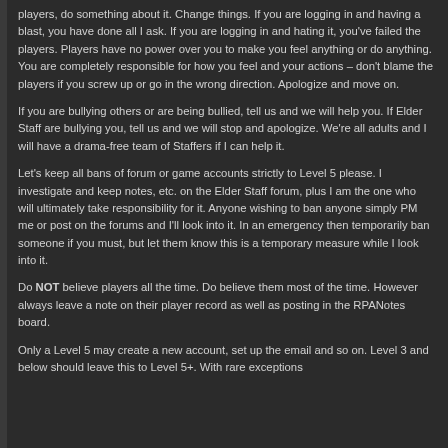players, do something about it. Change things. If you are logging in and having a blast, you have done all I ask. If you are logging in and hating it, you've failed the players. Players have no power over you to make you feel anything or do anything. You are completely responsible for how you feel and your actions – don't blame the players if you screw up or go in the wrong direction. Apologize and move on.
If you are bullying others or are being bullied, tell us and we will help you. If Elder Staff are bullying you, tell us and we will stop and apologize. We're all adults and I will have a drama-free team of Staffers if I can help it.
Let's keep all bans of forum or game accounts strictly to Level 5 please. I investigate and keep notes, etc. on the Elder Staff forum, plus I am the one who will ultimately take responsibility for it. Anyone wishing to ban anyone simply PM me or post on the forums and I'll look into it. In an emergency then temporarily ban someone if you must, but let them know this is a temporary measure while I look into it.
Do NOT believe players all the time. Do believe them most of the time. However always leave a note on their player record as well as posting in the RPANotes board.
Only a Level 5 may create a new account, set up the email and so on. Level 3 and below should leave this to Level 5+. With rare exceptions